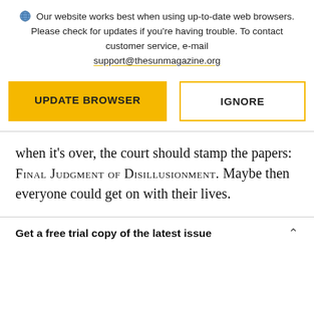Our website works best when using up-to-date web browsers. Please check for updates if you're having trouble. To contact customer service, e-mail support@thesunmagazine.org
[Figure (screenshot): Two buttons: a yellow 'UPDATE BROWSER' button and a yellow-outlined 'IGNORE' button]
when it's over, the court should stamp the papers: FINAL JUDGMENT OF DISILLUSIONMENT. Maybe then everyone could get on with their lives.
Get a free trial copy of the latest issue